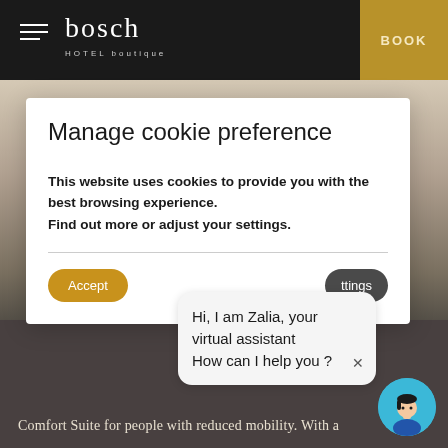[Figure (screenshot): Hotel website navigation bar with hamburger menu, Bosch HOTEL boutique logo, and gold BOOK button on dark background]
[Figure (photo): Hotel room interior photo showing ceiling beams and room furniture, partially obscured by cookie modal]
Manage cookie preference
This website uses cookies to provide you with the best browsing experience.
Find out more or adjust your settings.
Accept
ttings
Hi, I am Zalia, your virtual assistant
How can I help you ?
[Figure (illustration): Circular avatar of virtual assistant Zalia with blue background showing animated female character]
Comfort Suite for people with reduced mobility. With a